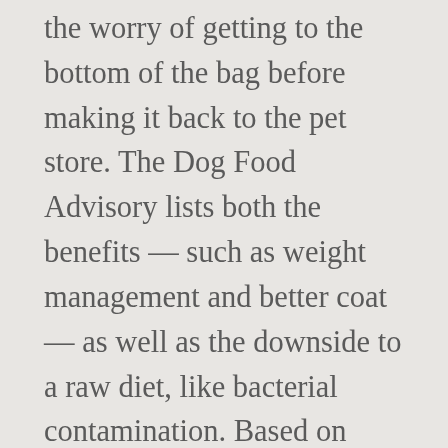the worry of getting to the bottom of the bag before making it back to the pet store. The Dog Food Advisory lists both the benefits — such as weight management and better coat — as well as the downside to a raw diet, like bacterial contamination. Based on positive customer reviews, we are confident in recommending the brand to you and your canine companion. We also routinely update and review our own reviews ensuring that any changes by manufacturers are brought to your attention. The creators of Jinx set out to develop healthy, tasty dog food with high-quality, safe, and nutritious ingredients. Jinx carefully researches the highest quality ingredients and formulas and then takes that